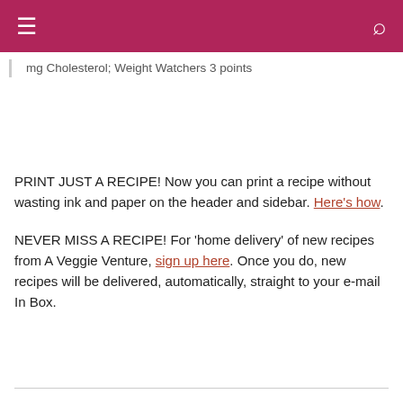≡  🔍
mg Cholesterol; Weight Watchers 3 points
PRINT JUST A RECIPE! Now you can print a recipe without wasting ink and paper on the header and sidebar. Here's how.
NEVER MISS A RECIPE! For 'home delivery' of new recipes from A Veggie Venture, sign up here. Once you do, new recipes will be delivered, automatically, straight to your e-mail In Box.